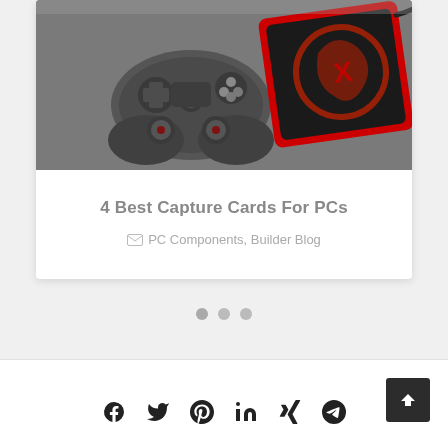[Figure (photo): Photo of a PlayStation DualShock controller next to a red and black capture card device on a dark surface]
4 Best Capture Cards For PCs
PC Components, Builder Blog
[Figure (infographic): Three pagination dots below the card, indicating a carousel]
[Figure (infographic): Social sharing icons: Facebook, Twitter, Pinterest, LinkedIn, Xing, Telegram]
[Figure (other): Back to top button in bottom right corner]